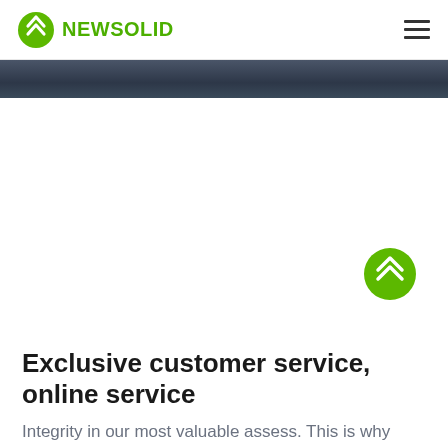NEWSOLID
[Figure (illustration): Dark gradient banner/hero image strip across the top of the page below the navigation header]
[Figure (logo): Green circular scroll-to-top button with double chevron/arrow icon in the lower right area]
Exclusive customer service, online service
Integrity in our most valuable assess. This is why